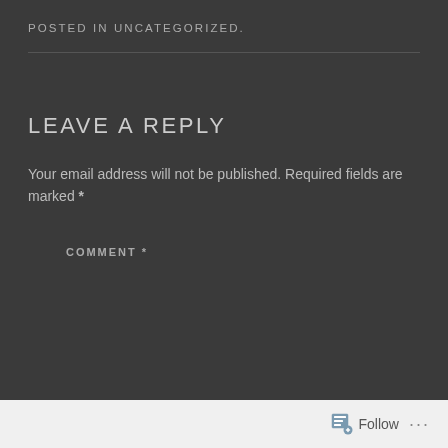POSTED IN UNCATEGORIZED.
LEAVE A REPLY
Your email address will not be published. Required fields are marked *
COMMENT *
Follow ...